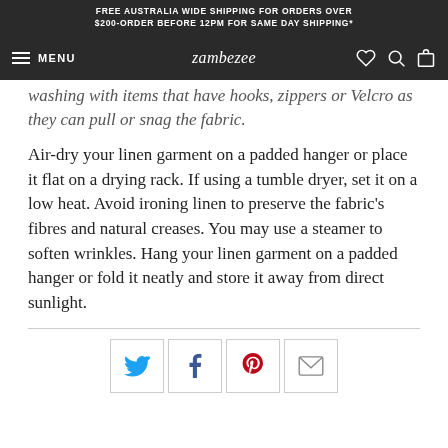FREE AUSTRALIA WIDE SHIPPING FOR ORDERS OVER $200-ORDER BEFORE 12PM FOR SAME DAY SHIPPING*
MENU | zambezee
washing with items that have hooks, zippers or Velcro as they can pull or snag the fabric.
Air-dry your linen garment on a padded hanger or place it flat on a drying rack. If using a tumble dryer, set it on a low heat. Avoid ironing linen to preserve the fabric's fibres and natural creases. You may use a steamer to soften wrinkles. Hang your linen garment on a padded hanger or fold it neatly and store it away from direct sunlight.
[Figure (infographic): Social sharing icons: Twitter (blue bird), Facebook (f), Pinterest (red P), Email (envelope)]